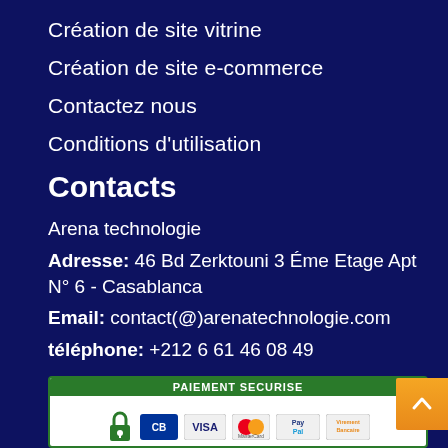Création de site vitrine
Création de site e-commerce
Contactez nous
Conditions d'utilisation
Contacts
Arena technologie
Adresse: 46 Bd Zerktouni 3 Éme Etage Apt N° 6 - Casablanca
Email: contact(@)arenatechnologie.com
téléphone: +212 6 61 46 08 49
[Figure (other): Secure payment badge showing PAIEMENT SECURISE with lock icon, CB, VISA, MasterCard, PayPal, and Virement Bancaire logos]